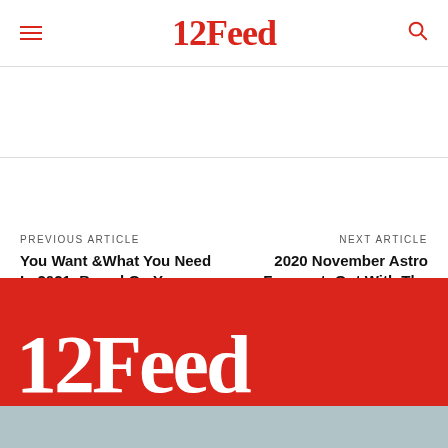12Feed
PREVIOUS ARTICLE
You Want &What You Need In 2021, Based On Your Zodiac Sign
NEXT ARTICLE
2020 November Astro Forecast: Out With The Old, In With The New
12Feed